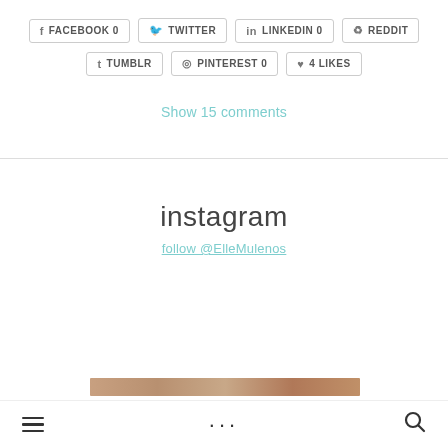FACEBOOK 0
TWITTER
LINKEDIN 0
REDDIT
TUMBLR
PINTEREST 0
4 LIKES
Show 15 comments
instagram
follow @ElleMulenos
[Figure (photo): Partial strip of an Instagram photo visible at the bottom of the page]
≡  ···  🔍